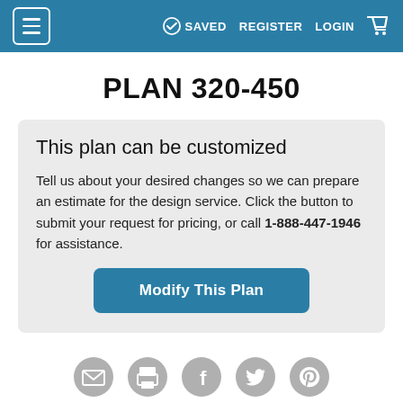≡  SAVED  REGISTER  LOGIN  🛒
PLAN 320-450
This plan can be customized
Tell us about your desired changes so we can prepare an estimate for the design service. Click the button to submit your request for pricing, or call 1-888-447-1946 for assistance.
[Figure (other): Modify This Plan button]
[Figure (other): Social sharing icons row: email, print, Facebook, Twitter, Pinterest]